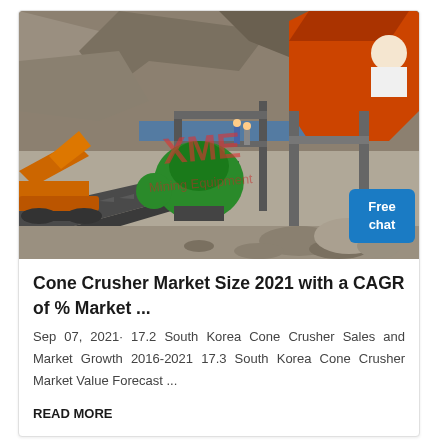[Figure (photo): Mining/quarry site photograph showing heavy machinery including an orange excavator, green cone crusher equipment with XME Mining Equipment watermark, conveyor belts, structural steel framework, large rectangular hopper, and rocky terrain with stone debris. Workers visible in background. 'Free chat' button overlay in bottom right corner.]
Cone Crusher Market Size 2021 with a CAGR of % Market ...
Sep 07, 2021· 17.2 South Korea Cone Crusher Sales and Market Growth 2016-2021 17.3 South Korea Cone Crusher Market Value Forecast ...
READ MORE